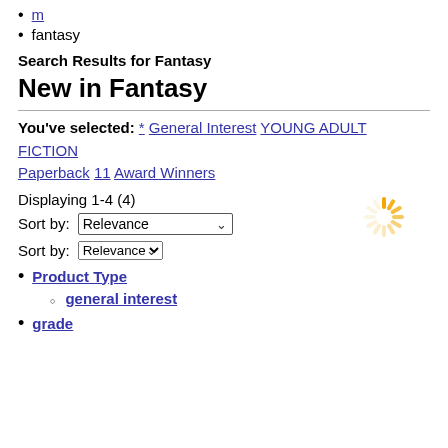m
fantasy
Search Results for Fantasy
New in Fantasy
You've selected: * General Interest YOUNG ADULT FICTION Paperback 11 Award Winners
Displaying 1-4 (4)
Sort by: Relevance
[Figure (other): Orange/yellow circular loading spinner icon]
Sort by: Relevance
Product Type
general interest
grade